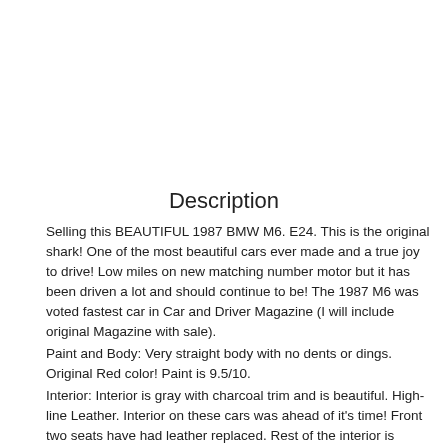Description
Selling this BEAUTIFUL 1987 BMW M6. E24. This is the original shark! One of the most beautiful cars ever made and a true joy to drive! Low miles on new matching number motor but it has been driven a lot and should continue to be! The 1987 M6 was voted fastest car in Car and Driver Magazine (I will include original Magazine with sale).
Paint and Body: Very straight body with no dents or dings. Original Red color! Paint is 9.5/10.
Interior: Interior is gray with charcoal trim and is beautiful. High-line Leather. Interior on these cars was ahead of it's time! Front two seats have had leather replaced. Rest of the interior is original. No rips. Momo M Series Steering wheel and shift knob.